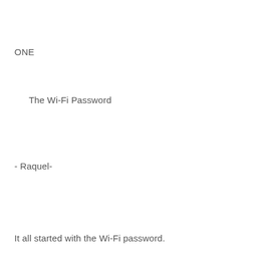ONE
The Wi-Fi Password
- Raquel-
It all started with the Wi-Fi password.